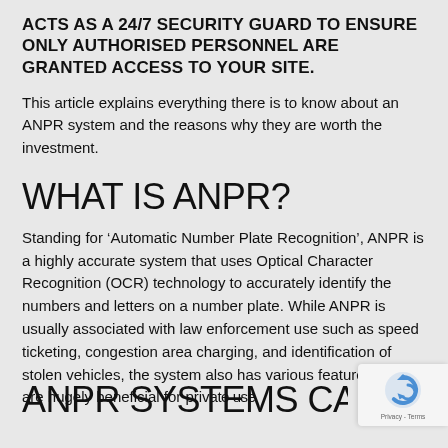ACTS AS A 24/7 SECURITY GUARD TO ENSURE ONLY AUTHORISED PERSONNEL ARE GRANTED ACCESS TO YOUR SITE.
This article explains everything there is to know about an ANPR system and the reasons why they are worth the investment.
WHAT IS ANPR?
Standing for ‘Automatic Number Plate Recognition’, ANPR is a highly accurate system that uses Optical Character Recognition (OCR) technology to accurately identify the numbers and letters on a number plate. While ANPR is usually associated with law enforcement use such as speed ticketing, congestion area charging, and identification of stolen vehicles, the system also has various features that are hugely beneficial for private use
ANPR SYSTEMS CAN BOOS…